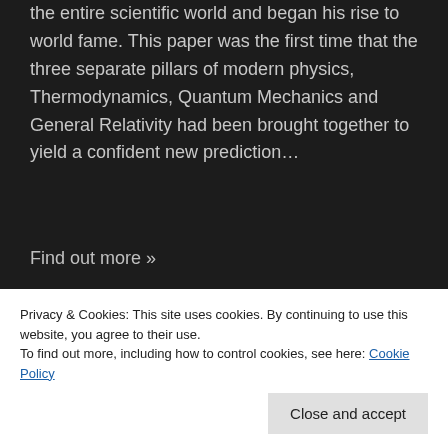the entire scientific world and began his rise to world fame. This paper was the first time that the three separate pillars of modern physics, Thermodynamics, Quantum Mechanics and General Relativity had been brought together to yield a confident new prediction…
Find out more »
November 2021
LDAC Monthly Meeting – Time in
Privacy & Cookies: This site uses cookies. By continuing to use this website, you agree to their use.
To find out more, including how to control cookies, see here: Cookie Policy
Close and accept